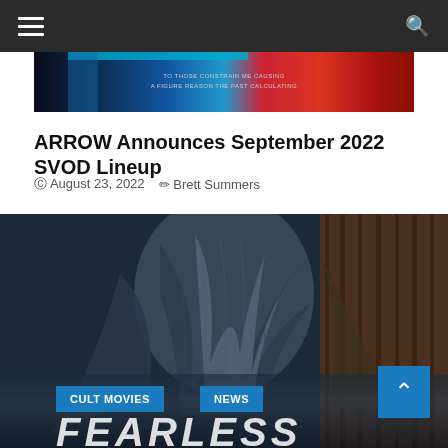Navigation bar with hamburger menu and search icon
[Figure (photo): Banner image with colorful background and small overlay text reading 'TO THOSE CONSTRAIN ME CAUSING A FIGURE REASON THE PAST CALCULATING']
ARROW Announces September 2022 SVOD Lineup
August 23, 2022  Brett Summers
[Figure (photo): Dark moody photograph of a draped figure or statue with flowing fabric, partially revealing text 'FEARLESS' at the bottom]
CULT MOVIES
NEWS